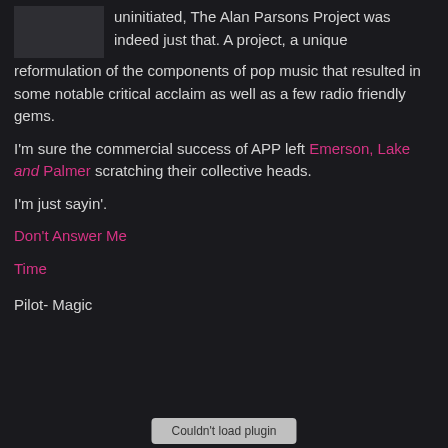uninitiated, The Alan Parsons Project was indeed just that. A project, a unique reformulation of the components of pop music that resulted in some notable critical acclaim as well as a few radio friendly gems.
I'm sure the commercial success of APP left Emerson, Lake and Palmer scratching their collective heads.
I'm just sayin'.
Don't Answer Me
Time
Pilot- Magic
[Figure (other): Could not load plugin button at bottom of page]